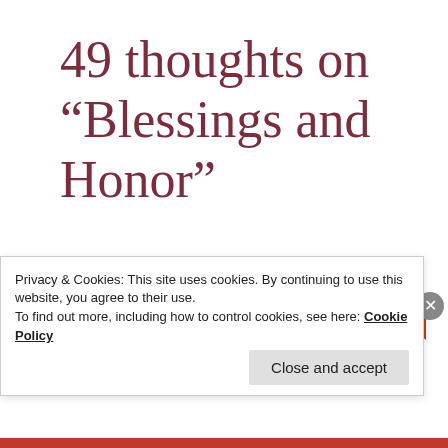49 thoughts on “Blessings and Honor”
car accident
Privacy & Cookies: This site uses cookies. By continuing to use this website, you agree to their use.
To find out more, including how to control cookies, see here: Cookie Policy
Close and accept